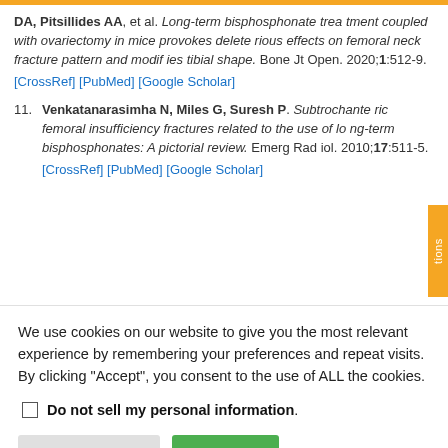DA, Pitsillides AA, et al. Long-term bisphosphonate treatment coupled with ovariectomy in mice provokes deleterious effects on femoral neck fracture pattern and modifies tibial shape. Bone Jt Open. 2020;1:512-9. [CrossRef] [PubMed] [Google Scholar]
11. Venkatanarasimha N, Miles G, Suresh P. Subtrochanteric femoral insufficiency fractures related to the use of long-term bisphosphonates: A pictorial review. Emerg Radiol. 2010;17:511-5. [CrossRef] [PubMed] [Google Scholar]
We use cookies on our website to give you the most relevant experience by remembering your preferences and repeat visits. By clicking "Accept", you consent to the use of ALL the cookies.
Do not sell my personal information.
Cookie Settings  Accept